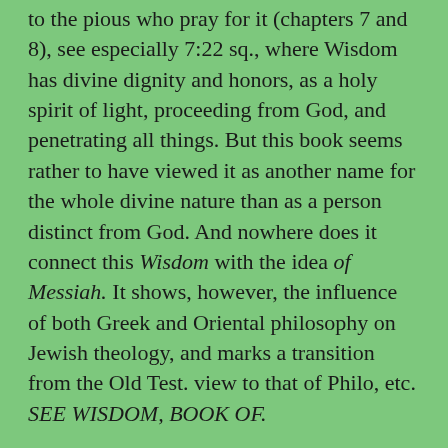to the pious who pray for it (chapters 7 and 8), see especially 7:22 sq., where Wisdom has divine dignity and honors, as a holy spirit of light, proceeding from God, and penetrating all things. But this book seems rather to have viewed it as another name for the whole divine nature than as a person distinct from God. And nowhere does it connect this Wisdom with the idea of Messiah. It shows, however, the influence of both Greek and Oriental philosophy on Jewish theology, and marks a transition from the Old Test. view to that of Philo, etc. SEE WISDOM, BOOK OF.
(4.) In Egypt, from the time of Ptolemy I (B.C. 300), there were Jews in great numbers, their head-quarters being at Alexandria (Philo estimates them at a million in his time, A.D. 50), and there they gradually came under the influence of the Egyptian civilization of that age, a strange mixture of Greek and Oriental customs and doctrines. SEE ALEXANDRIAN SCHOOLS. Aristobulus, about 150 B.C.